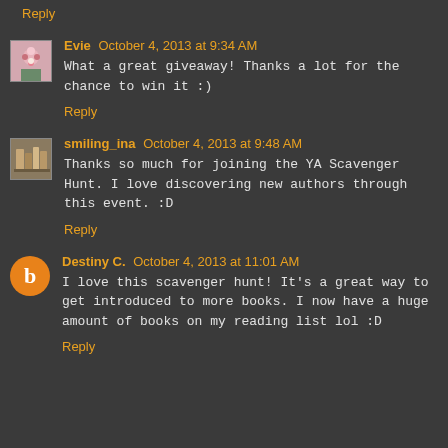Reply
Evie October 4, 2013 at 9:34 AM
What a great giveaway! Thanks a lot for the chance to win it :)
Reply
smiling_ina October 4, 2013 at 9:48 AM
Thanks so much for joining the YA Scavenger Hunt. I love discovering new authors through this event. :D
Reply
Destiny C. October 4, 2013 at 11:01 AM
I love this scavenger hunt! It's a great way to get introduced to more books. I now have a huge amount of books on my reading list lol :D
Reply